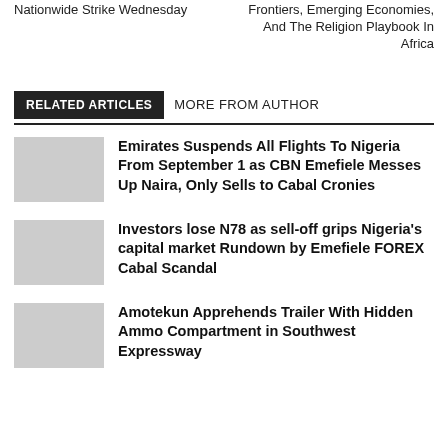Nationwide Strike Wednesday
Frontiers, Emerging Economies, And The Religion Playbook In Africa
RELATED ARTICLES   MORE FROM AUTHOR
Emirates Suspends All Flights To Nigeria From September 1 as CBN Emefiele Messes Up Naira, Only Sells to Cabal Cronies
Investors lose N78 as sell-off grips Nigeria's capital market Rundown by Emefiele FOREX Cabal Scandal
Amotekun Apprehends Trailer With Hidden Ammo Compartment in Southwest Expressway